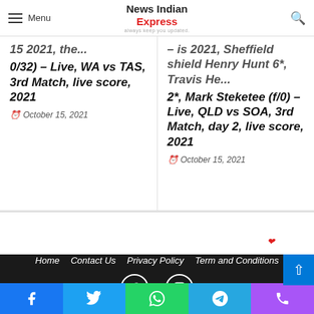Menu | News Indian Express | always keep you updated.
15 2021, the... 0/32) – Live, WA vs TAS, 3rd Match, live score, 2021
October 15, 2021
– is 2021, Sheffield shield Henry Hunt 6*, Travis He... 2*, Mark Steketee (f/0) – Live, QLD vs SOA, 3rd Match, day 2, live score, 2021
October 15, 2021
© Copyright 2022, All Rights Reserved | Mady by Love ❤
Home   Contact Us   Privacy Policy   Term and Conditions